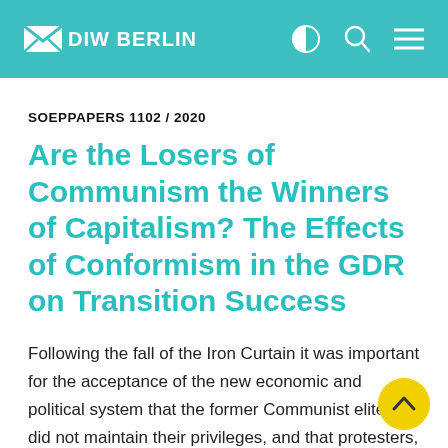DIW BERLIN
SOEPPAPERS 1102 / 2020
Are the Losers of Communism the Winners of Capitalism? The Effects of Conformism in the GDR on Transition Success
Following the fall of the Iron Curtain it was important for the acceptance of the new economic and political system that the former Communist elites did not maintain their privileges, and that protesters, who helped to overturn the old system, improved their